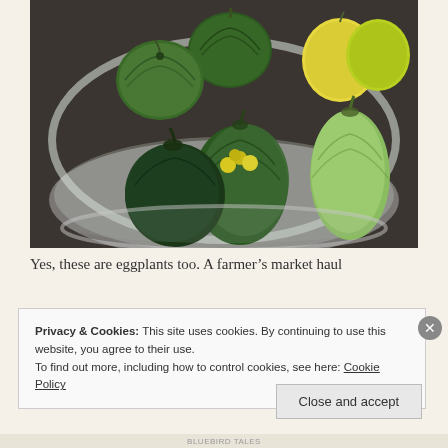[Figure (photo): A glass bowl filled with various green and yellow eggplants and tomatoes, photographed at a farmer's market haul. The vegetables include dark green round eggplants, light green eggplants, ribbed green tomatoes, yellow tomatoes, and small yellow cherry tomatoes.]
Yes, these are eggplants too. A farmer’s market haul
Privacy & Cookies: This site uses cookies. By continuing to use this website, you agree to their use.
To find out more, including how to control cookies, see here: Cookie Policy
Close and accept